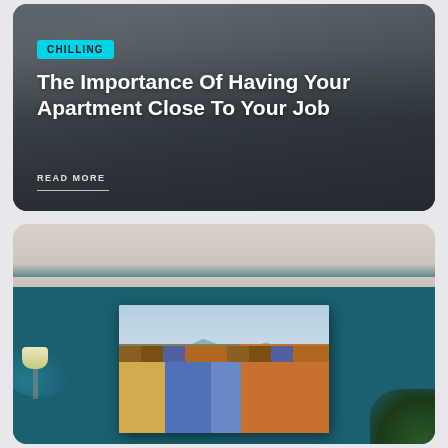[Figure (photo): Dark living room with sofa and cushions, dim indoor lighting, used as background for article card]
CHILLING
The Importance Of Having Your Apartment Close To Your Job
READ MORE
[Figure (photo): Teal-painted room interior with a wall-mounted painting depicting colorful row houses, a lamp on the left wall]